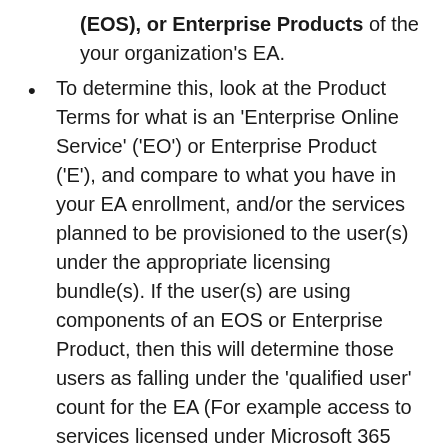(EOS), or Enterprise Products of the your organization's EA.
To determine this, look at the Product Terms for what is an 'Enterprise Online Service' ('EO') or Enterprise Product ('E'), and compare to what you have in your EA enrollment, and/or the services planned to be provisioned to the user(s) under the appropriate licensing bundle(s). If the user(s) are using components of an EOS or Enterprise Product, then this will determine those users as falling under the 'qualified user' count for the EA (For example access to services licensed under Microsoft 365 E3 or E5